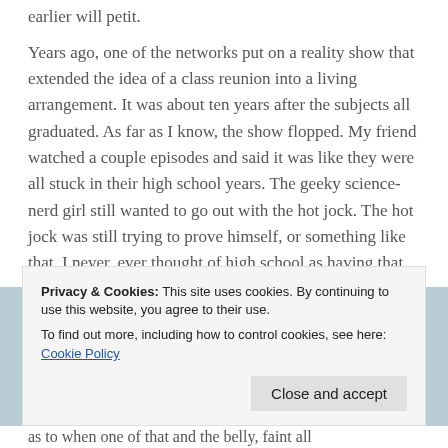earlier will petit.
Years ago, one of the networks put on a reality show that extended the idea of a class reunion into a living arrangement. It was about ten years after the subjects all graduated. As far as I know, the show flopped. My friend watched a couple episodes and said it was like they were all stuck in their high school years. The geeky science-nerd girl still wanted to go out with the hot jock. The hot jock was still trying to prove himself, or something like that. I never, ever thought of high school as having that
Privacy & Cookies: This site uses cookies. By continuing to use this website, you agree to their use.
To find out more, including how to control cookies, see here: Cookie Policy
as to when one of that and the belly, faint all